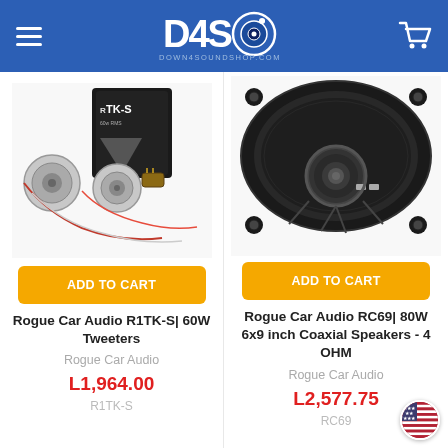D4S - DOWN4SOUNDSHOP.COM
[Figure (photo): Product photo of Rogue Car Audio R1TK-S tweeters with crossover components and packaging box]
ADD TO CART
Rogue Car Audio R1TK-S| 60W Tweeters
Rogue Car Audio
L1,964.00
R1TK-S
[Figure (photo): Product photo of Rogue Car Audio RC69 6x9 inch coaxial speaker showing cone and back detail]
ADD TO CART
Rogue Car Audio RC69| 80W 6x9 inch Coaxial Speakers - 4 OHM
Rogue Car Audio
L2,577.75
RC69